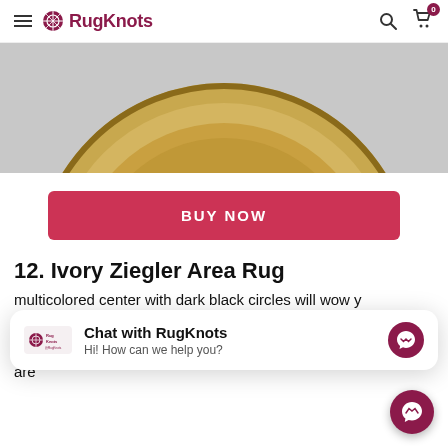RugKnots — navigation header with hamburger menu, logo, search icon, and cart (0 items)
[Figure (photo): Top portion of a round ivory Ziegler area rug with beige/tan tones and ornate floral pattern, photographed on a light grey background]
BUY NOW
12. Ivory Ziegler Area Rug
[Figure (screenshot): Chat popup overlay showing RugKnots logo on left, 'Chat with RugKnots' title and 'Hi! How can we help you?' subtitle, with Messenger icon on the right]
multicolored center with dark black circles will wow y anyone in your home. And if you're looking for an artistic that's both elegant yet practical, then these petal-filled borders are